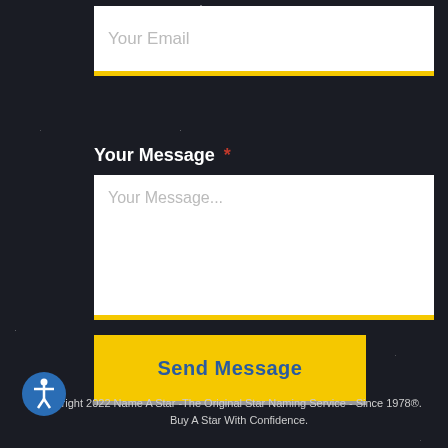[Figure (screenshot): Email input field with white background and yellow bottom border, placeholder text 'Your Email']
Your Message *
[Figure (screenshot): Message textarea with white background and yellow bottom border, placeholder text 'Your Message...']
Send Message
Copyright 2022 Name A Star -The Original Star Naming Service - Since 1978®. Buy A Star With Confidence.